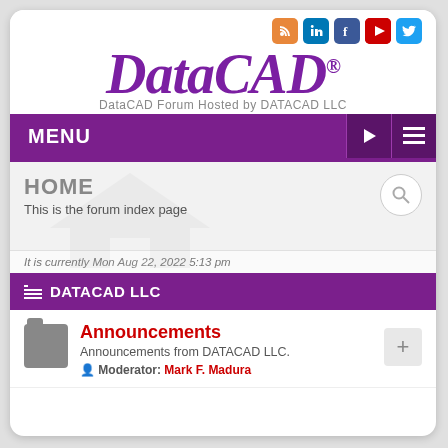[Figure (logo): DataCAD logo with social media icons (RSS, LinkedIn, Facebook, YouTube, Twitter) and tagline 'DataCAD Forum Hosted by DATACAD LLC']
MENU
HOME
This is the forum index page
It is currently Mon Aug 22, 2022 5:13 pm
DATACAD LLC
Announcements
Announcements from DATACAD LLC.
Moderator: Mark F. Madura